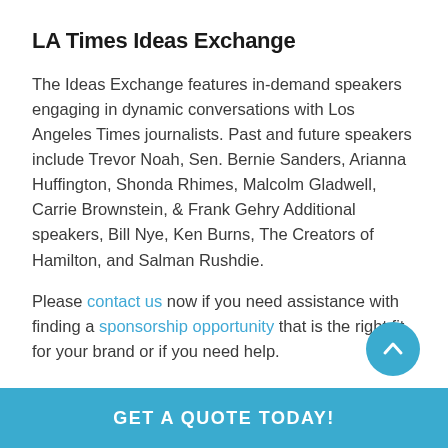LA Times Ideas Exchange
The Ideas Exchange features in-demand speakers engaging in dynamic conversations with Los Angeles Times journalists. Past and future speakers include Trevor Noah, Sen. Bernie Sanders, Arianna Huffington, Shonda Rhimes, Malcolm Gladwell, Carrie Brownstein, & Frank Gehry Additional speakers, Bill Nye, Ken Burns, The Creators of Hamilton, and Salman Rushdie.
Please contact us now if you need assistance with finding a sponsorship opportunity that is the right fit for your brand or if you need help.
GET A QUOTE TODAY!